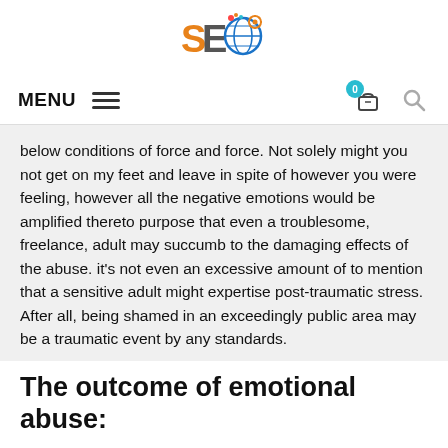[Figure (logo): SEO logo with globe and gear icons in orange, blue, red and yellow]
MENU  ☰  [cart icon with 0 badge]  [search icon]
below conditions of force and force. Not solely might you not get on my feet and leave in spite of however you were feeling, however all the negative emotions would be amplified thereto purpose that even a troublesome, freelance, adult may succumb to the damaging effects of the abuse. it's not even an excessive amount of to mention that a sensitive adult might expertise post-traumatic stress. After all, being shamed in an exceedingly public area may be a traumatic event by any standards.
The outcome of emotional abuse:
Emotional abuse of youngsters may end up in serious emotional and behavioural issues, together with depression, lack of attachment or emotional bond to a parent or guardian, low psychological feature ability, and academic action, and